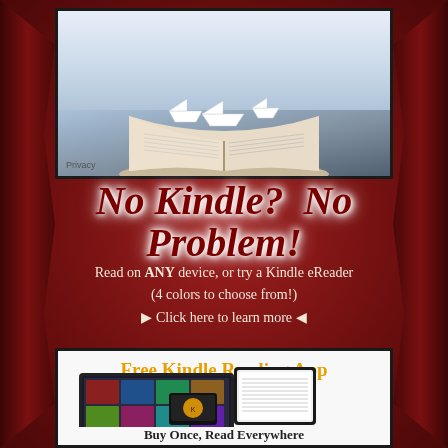[Figure (photo): Open book with paper boats folded from book pages floating above it, on a light blue-grey background. 'Privacy' watermark text in lower left.]
No Kindle?  No Problem!
Read on ANY device, or try a Kindle eReader
(4 colors to choose from!)
⬛ Click here to learn more ⬛
[Figure (screenshot): Free Kindle Reading App promotional image showing a laptop, tablet, and smartphone with Kindle app interface. Text at bottom: 'Buy Once, Read Everywhere']